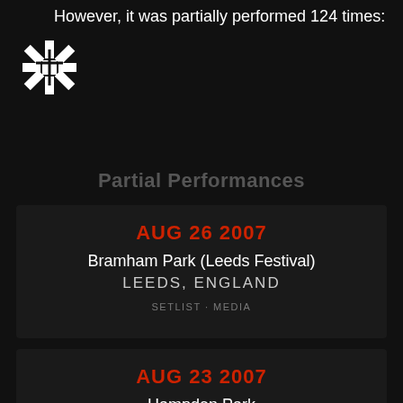However, it was partially performed 124 times:
[Figure (logo): Red Hot Chili Peppers asterisk logo in white]
Partial Performances
AUG 26 2007
Bramham Park (Leeds Festival)
LEEDS, ENGLAND
SETLIST · MEDIA
AUG 23 2007
Hampden Park
GLASGOW, SCOTLAND
SETLIST · MEDIA · RECORDING
JUL 06 2007